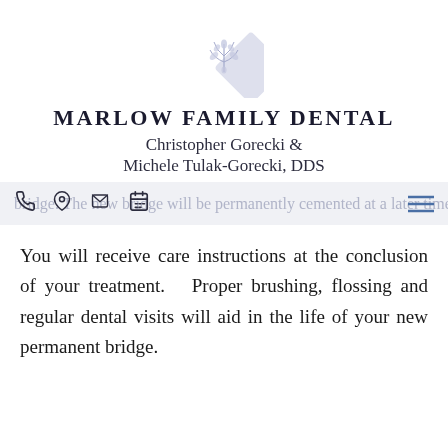[Figure (logo): Diamond-shaped floral/leaf logo in light periwinkle/lavender color for Marlow Family Dental]
MARLOW FAMILY DENTAL
Christopher Gorecki &
Michele Tulak-Gorecki, DDS
bridge. The new bridge will be permanently cemented at a later time.
You will receive care instructions at the conclusion of your treatment. Proper brushing, flossing and regular dental visits will aid in the life of your new permanent bridge.